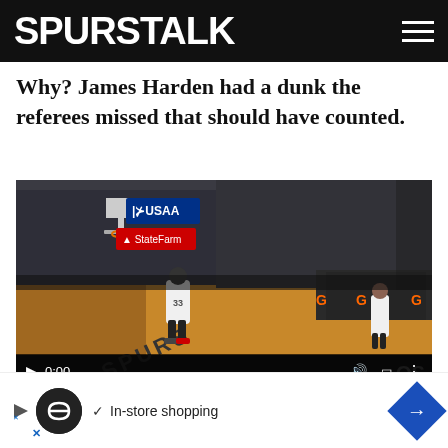SPURS TALK
Why? James Harden had a dunk the referees missed that should have counted.
[Figure (screenshot): Video player showing an NBA basketball game screenshot. Scoreboard shows ROCKETS 102, SPURS 89, 4th Qtr, 7:55, 21. Video timestamp at 0:00.]
As you can see in the video, Harden had hit the ball then the bal... the